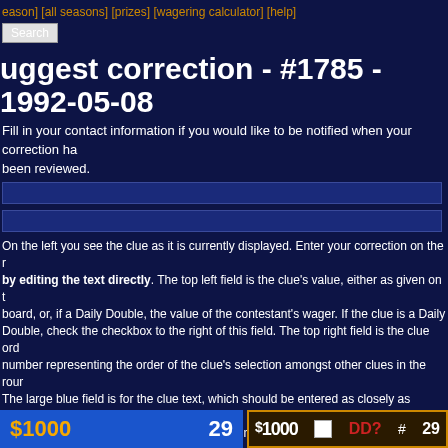[season] [all seasons] [prizes] [wagering calculator] [help]
Search
uggest correction - #1785 - 1992-05-08
Fill in your contact information if you would like to be notified when your correction has been reviewed.
(input field 1)
(input field 2)
On the left you see the clue as it is currently displayed. Enter your correction on the right by editing the text directly. The top left field is the clue's value, either as given on the board, or, if a Daily Double, the value of the contestant's wager. If the clue is a Daily Double, check the checkbox to the right of this field. The top right field is the clue order number representing the order of the clue's selection amongst other clues in the round. The large blue field is for the clue text, which should be entered as closely as possible how it appears on the show, with the exception that the words should not be all caps. Links to media clue files should be entered with HTML-style hyperlinks. Next come the nicknames of the three contestants in the form of response toggles: single clicks on the name change its color from white (no response) to green (correct response) to red (incorrect response) and back. Below this should be typed the correct response (only the most essential part--it should not be entered in the form of a question). The bottom field on the right is the clue comments field, where dialog (including incorrect responses) can be entered. (Note that the correct response should never be typed in the comments field; rather, it should be denoted by [*].)
$1000  29
$1000  DD?  # 29